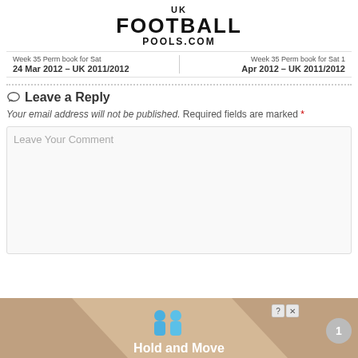[Figure (logo): UK Football Pools.com logo in bold black text]
Week 35 Perm book for Sat 24 Mar 2012 - UK 2011/2012
Week 35 Perm book for Sat 1 Apr 2012 - UK 2011/2012
Leave a Reply
Your email address will not be published. Required fields are marked *
Leave Your Comment
[Figure (screenshot): Hold and Move advertisement banner with two blue figures]